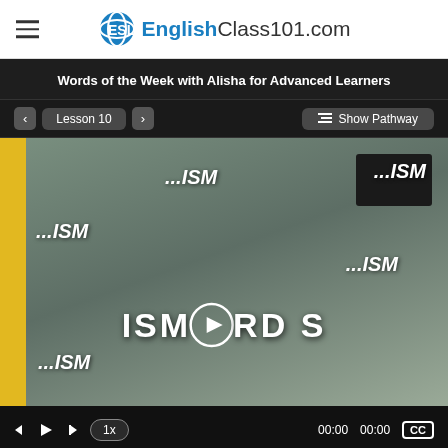EnglishClass101.com
Words of the Week with Alisha for Advanced Learners
Lesson 10 | Show Pathway
[Figure (screenshot): Video player showing a woman speaking with overlaid text reading '...ISM WORDS' on multiple positions around the frame, with a play button circle in the center. Video controls at bottom show playback buttons, 1x speed badge, 00:00 00:00 timestamps, and CC button.]